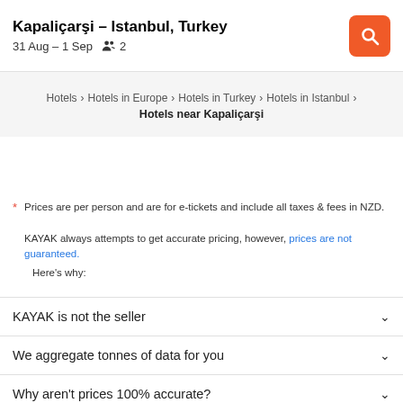Kapaliçarşi – Istanbul, Turkey
31 Aug – 1 Sep  2
Hotels > Hotels in Europe > Hotels in Turkey > Hotels in Istanbul > Hotels near Kapaliçarşi
* Prices are per person and are for e-tickets and include all taxes & fees in NZD.
KAYAK always attempts to get accurate pricing, however, prices are not guaranteed.
Here's why:
KAYAK is not the seller
We aggregate tonnes of data for you
Why aren't prices 100% accurate?